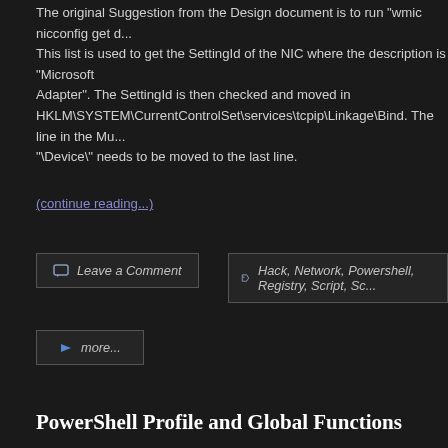The original Suggestion from the Design document is to run "wmic nicconfig get d... This list is used to get the SettingId of the NIC where the description is "Microsoft Adapter". The SettingId is then checked and moved in HKLM\SYSTEM\CurrentControlSet\services\tcpip\Linkage\Bind. The line in the Mu... "\Device\" needs to be moved to the last line.
(continue reading...)
Leave a Comment
Hack, Network, Powershell, Registry, Script, Sc...
more...
PowerShell Profile and Global Functions
by dwarfsoft on Jul.16, 2012, under Scripting, Work
So I came across an interesting problem today while trying to dynamically load Fu... Lib function. The issue was that Loading a Script within a function means that the functions defined in that File are only defined within the Scope of the loading function. The two ways a... every Function like:
Personally, I wanted my script to be the same whether I was loading it as a Global... within a Function. In order to get the behaviour I wanted I had to redefine the func... dynamically. This idea would also resolve the other issue I had: Redefining functio... always overwrite or replace the existing function code.